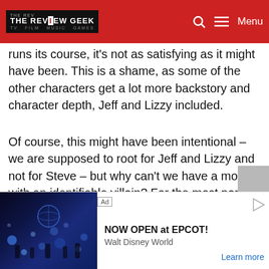THE REVIEW GEEK — TV FILM MUSIC GAMES | Menu
runs its course, it's not as satisfying as it might have been. This is a shame, as some of the other characters get a lot more backstory and character depth, Jeff and Lizzy included.
Of course, this might have been intentional – we are supposed to root for Jeff and Lizzy and not for Steve – but why can't we have a movie with an identifiable villain? For the most part, Spiderhead's script has been intelligently written, with themes centred around free will and ethical responsibility. If more attention was paid to Steve and his motivations, this would have been a far better movie.
[Figure (screenshot): Advertisement banner for EPCOT at Walt Disney World. Shows a night scene image on the left with blue lighting effects and people, followed by text 'NOW OPEN at EPCOT!' and 'Walt Disney World' with a 'Learn more' link.]